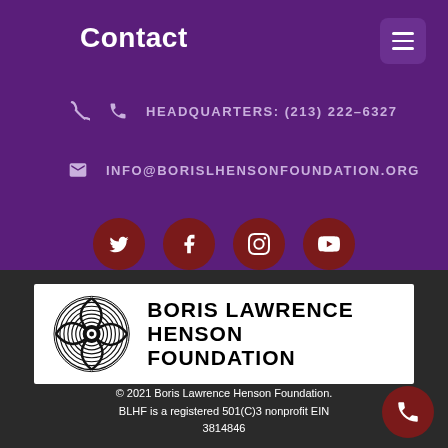Contact
HEADQUARTERS: (213) 222-6327
INFO@BORISLHENSONFOUNDATION.ORG
[Figure (infographic): Four dark red circular social media icons: Twitter, Facebook, Instagram, YouTube]
[Figure (logo): Boris Lawrence Henson Foundation logo: spiral circular graphic with organization name in bold black text on white background]
© 2021 Boris Lawrence Henson Foundation. BLHF is a registered 501(C)3 nonprofit EIN 3814846